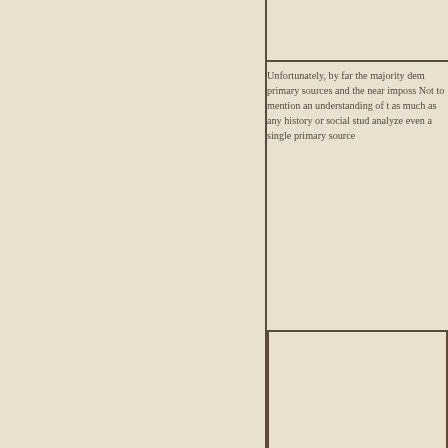[Figure (other): Empty box at top right of page, partially visible]
Unfortunately, by far the majority dem primary sources and the near imposs Not to mention an understanding of t as much as any history or social stud analyze even a single primary source
[Figure (other): Empty bordered box in middle right section]
[Figure (other): Empty bordered box in lower right section]
[Figure (other): Empty bordered box at bottom right section]